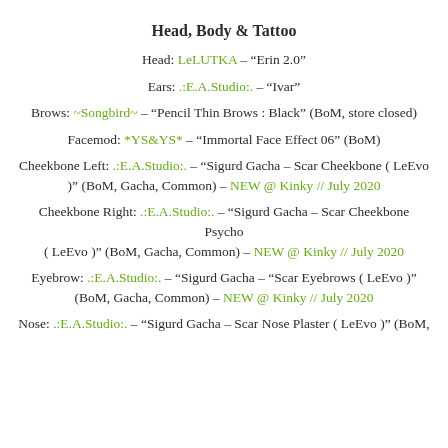Head, Body & Tattoo
Head: LeLUTKA – "Erin 2.0"
Ears: .:E.A.Studio:. – "Ivar"
Brows: ~Songbird~ – "Pencil Thin Brows : Black" (BoM, store closed)
Facemod: *YS&YS* – "Immortal Face Effect 06" (BoM)
Cheekbone Left: .:E.A.Studio:. – "Sigurd Gacha – Scar Cheekbone ( LeEvo )" (BoM, Gacha, Common) – NEW @ Kinky // July 2020
Cheekbone Right: .:E.A.Studio:. – "Sigurd Gacha – Scar Cheekbone Psycho ( LeEvo )" (BoM, Gacha, Common) – NEW @ Kinky // July 2020
Eyebrow: .:E.A.Studio:. – "Sigurd Gacha – "Scar Eyebrows ( LeEvo )" (BoM, Gacha, Common) – NEW @ Kinky // July 2020
Nose: .:E.A.Studio:. – "Sigurd Gacha – Scar Nose Plaster ( LeEvo )" (BoM,